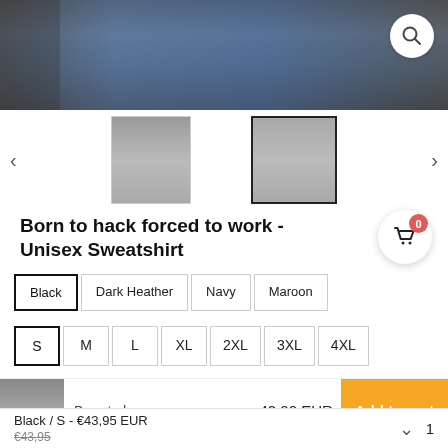[Figure (photo): Top banner photo showing person wearing dark sweatshirt with blue jeans and red chain decoration in background]
[Figure (photo): Two thumbnail images of the sweatshirt product; second thumbnail is selected with dark border]
Born to hack forced to work - Unisex Sweatshirt
Color options: Black (selected), Dark Heather, Navy, Maroon
Size options: S (selected), M, L, XL, 2XL, 3XL, 4XL
[Figure (photo): Sticky add-to-cart bar with product thumbnail, name truncated as 'Born to hac...', price 42.00 EUR, and Add to cart button; size label 5XL shown]
Black / S - €43,95 EUR
€43,95
1